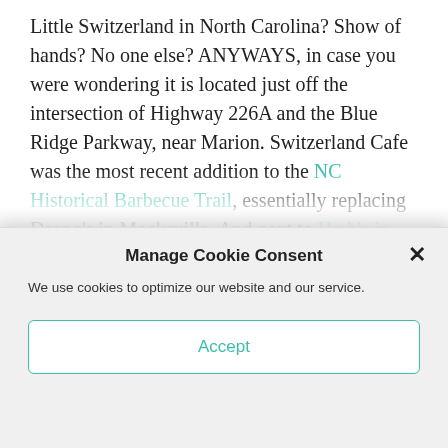Little Switzerland in North Carolina? Show of hands? No one else? ANYWAYS, in case you were wondering it is located just off the intersection of Highway 226A and the Blue Ridge Parkway, near Marion. Switzerland Cafe was the most recent addition to the NC Historical Barbecue Trail, essentially replacing Deano's in Mocksville. And next to Herb's in Murphy, I'm willing to bet its the most remotely located.
Speedy: We went on a rainy/foggy afternoon, so we
Manage Cookie Consent
We use cookies to optimize our website and our service.
Accept